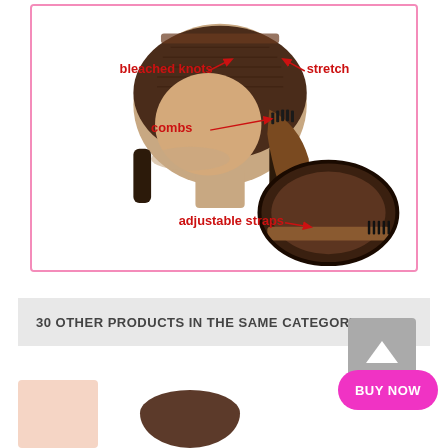[Figure (illustration): Annotated wig construction diagram showing interior cap features: bleached knots (labeled top-left with red arrow), stretch (labeled top-right with red arrow), combs (labeled middle-left with red arrow pointing to brown comb), and adjustable straps (labeled bottom with red arrow pointing to bottom wig cap view). Features a side-profile photo of a wig on a mannequin head and a separate bottom-view of the wig cap showing the adjustable strap and comb.]
30 OTHER PRODUCTS IN THE SAME CATEGORY: